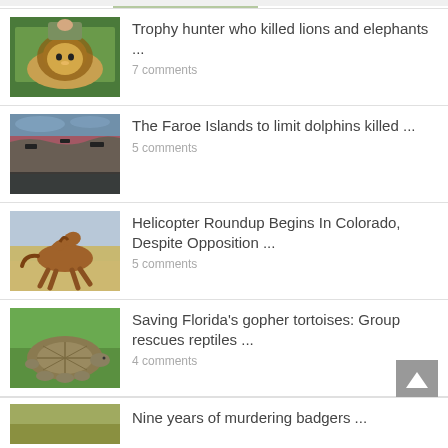[Figure (photo): Top strip partial image]
Trophy hunter who killed lions and elephants ...
7 comments
The Faroe Islands to limit dolphins killed ...
5 comments
Helicopter Roundup Begins In Colorado, Despite Opposition ...
5 comments
Saving Florida's gopher tortoises: Group rescues reptiles ...
4 comments
Nine years of murdering badgers ...